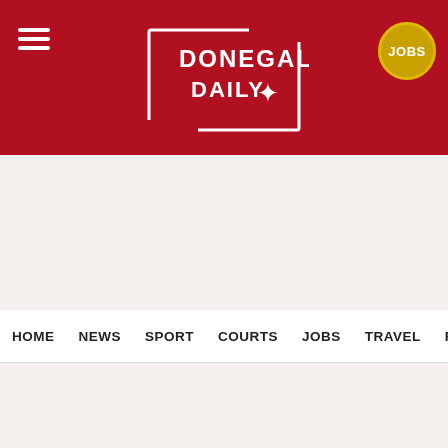[Figure (logo): Donegal Daily logo with white bracket-style border and bird/map of Ireland icon on dark red background]
HOME  NEWS  SPORT  COURTS  JOBS  TRAVEL  FEATU...
[Figure (infographic): Donegal Car Hire from €60 per day - DMG Motors advertisement banner in orange]